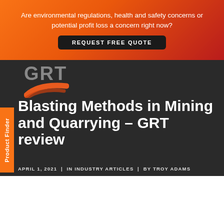Are environmental regulations, health and safety concerns or potential profit loss a concern right now?
REQUEST FREE QUOTE
[Figure (logo): GRT logo with grey letters and orange swoosh graphic]
Blasting Methods in Mining and Quarrying – GRT review
APRIL 1, 2021  |  IN INDUSTRY ARTICLES  |  BY TROY ADAMS
Product Finder